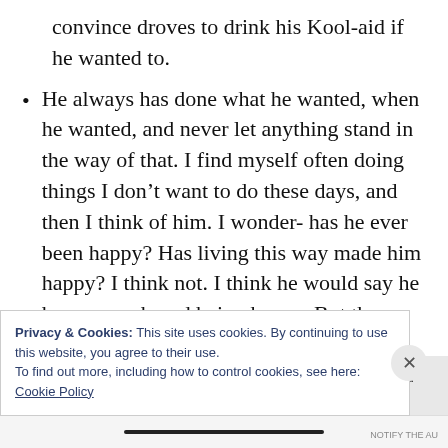convince droves to drink his Kool-aid if he wanted to.
He always has done what he wanted, when he wanted, and never let anything stand in the way of that. I find myself often doing things I don't want to do these days, and then I think of him. I wonder- has he ever been happy? Has living this way made him happy? I think not. I think he would say he has never chased being happy. But then what the hell has his life been for? What are
Privacy & Cookies: This site uses cookies. By continuing to use this website, you agree to their use.
To find out more, including how to control cookies, see here:
Cookie Policy
Close and accept